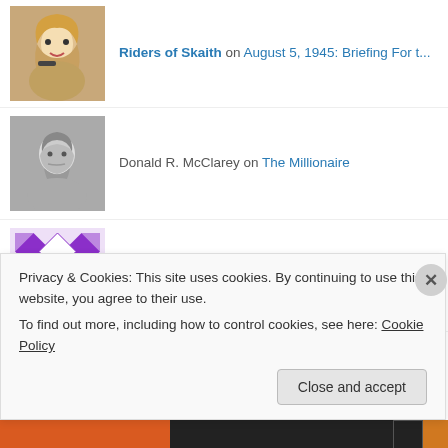Riders of Skaith on August 5, 1945: Briefing For t...
Donald R. McClarey on The Millionaire
Peter Kinder on The Millionaire
Donald R. McClarey on Norwegian Constitution Day
ulf malm on Norwegian Constitution Day
Donald R. McClarey on April 12, 1864: Fort Pillow
Privacy & Cookies: This site uses cookies. By continuing to use this website, you agree to their use.
To find out more, including how to control cookies, see here: Cookie Policy
Close and accept